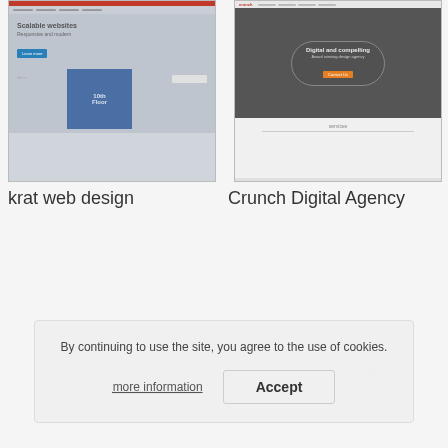[Figure (screenshot): Screenshot of krat web design website showing a blue hero section with 'Scalable websites' text and a building image]
krat web design
[Figure (screenshot): Screenshot of Crunch Digital Agency website with dark hero section showing a circular overlay with headline and orange button]
Crunch Digital Agency
By continuing to use the site, you agree to the use of cookies.
more information
Accept